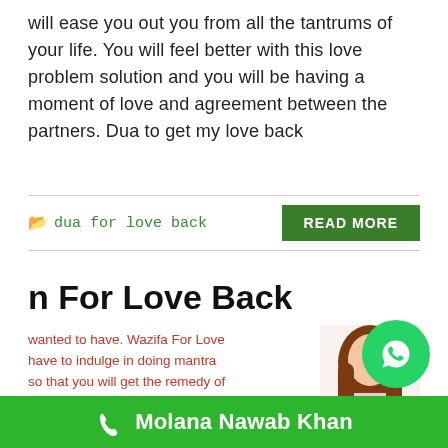will ease you out you from all the tantrums of your life. You will feel better with this love problem solution and you will be having a moment of love and agreement between the partners. Dua to get my love back
dua for love back
READ MORE
n For Love Back
wanted to have. Wazifa For Love have to indulge in doing mantra so that you will get the remedy of . The Islamic Wazifa Mantra will e love you back and it will start gs on her his or her heart. condition will be resolved as soo
[Figure (illustration): Illustration of a girl with brown hair]
[Figure (logo): WhatsApp logo button in green circle]
Molana Nawab Khan